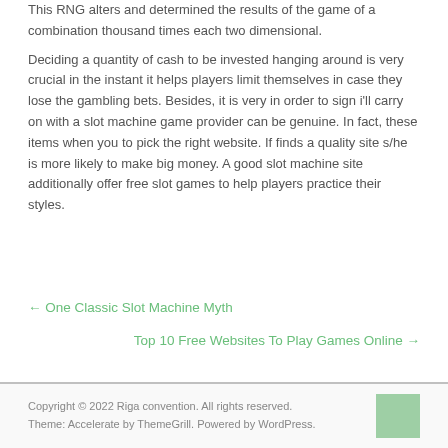This RNG alters and determines the results of the game of a combination thousand times each two dimensional.
Deciding a quantity of cash to be invested hanging around is very crucial in the instant it helps players limit themselves in case they lose the gambling bets. Besides, it is very in order to sign i'll carry on with a slot machine game provider can be genuine. In fact, these items when you to pick the right website. If finds a quality site s/he is more likely to make big money. A good slot machine site additionally offer free slot games to help players practice their styles.
← One Classic Slot Machine Myth
Top 10 Free Websites To Play Games Online →
Copyright © 2022 Riga convention. All rights reserved. Theme: Accelerate by ThemeGrill. Powered by WordPress.